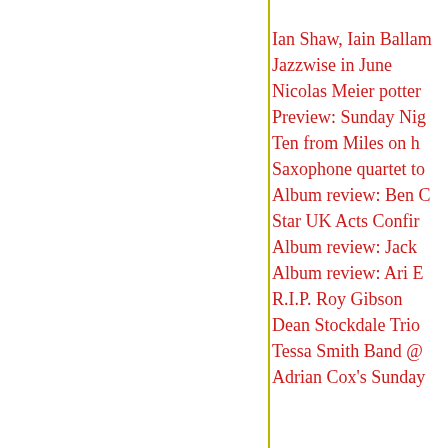Ian Shaw, Iain Ballam
Jazzwise in June
Nicolas Meier potter
Preview: Sunday Nig
Ten from Miles on h
Saxophone quartet to
Album review: Ben C
Star UK Acts Confir
Album review: Jack
Album review: Ari E
R.I.P. Roy Gibson
Dean Stockdale Trio
Tessa Smith Band @
Adrian Cox's Sunday